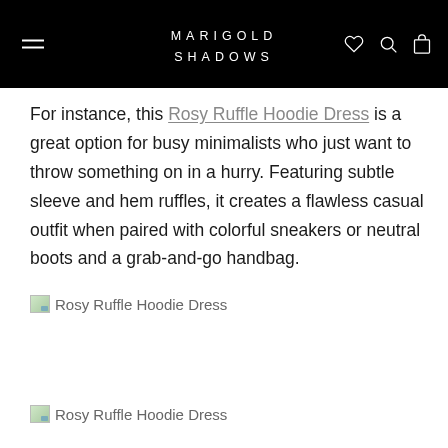MARIGOLD SHADOWS
For instance, this Rosy Ruffle Hoodie Dress is a great option for busy minimalists who just want to throw something on in a hurry. Featuring subtle sleeve and hem ruffles, it creates a flawless casual outfit when paired with colorful sneakers or neutral boots and a grab-and-go handbag.
[Figure (photo): Broken image placeholder for Rosy Ruffle Hoodie Dress]
[Figure (photo): Broken image placeholder for Rosy Ruffle Hoodie Dress]